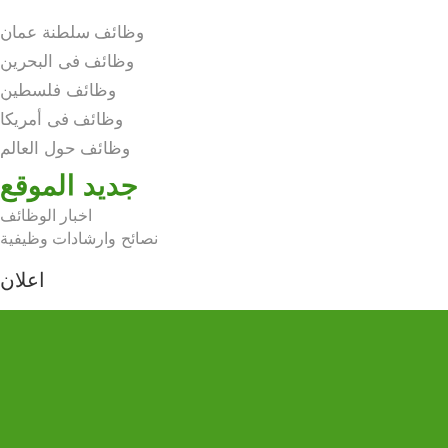وظائف سلطنة عمان
وظائف فى البحرين
وظائف فلسطين
وظائف فى أمريكا
وظائف حول العالم
جديد الموقع
اخبار الوظائف
نصائح وارشادات وظيفية
اعلان
[Figure (other): Green banner/footer block]